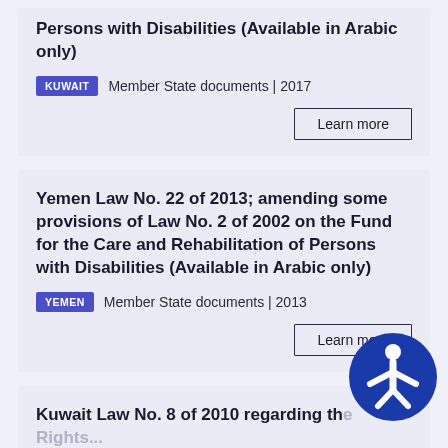Persons with Disabilities (Available in Arabic only)
KUWAIT   Member State documents | 2017
Learn more
Yemen Law No. 22 of 2013; amending some provisions of Law No. 2 of 2002 on the Fund for the Care and Rehabilitation of Persons with Disabilities (Available in Arabic only)
YEMEN   Member State documents | 2013
Learn more
Kuwait Law No. 8 of 2010 regarding the Rights...